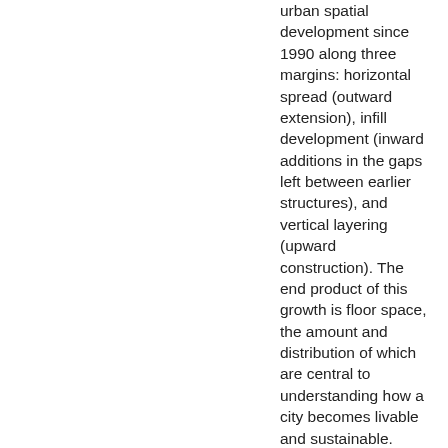urban spatial development since 1990 along three margins: horizontal spread (outward extension), infill development (inward additions in the gaps left between earlier structures), and vertical layering (upward construction). The end product of this growth is floor space, the amount and distribution of which are central to understanding how a city becomes livable and sustainable. Over the quarter century between 1990 and 2015, urban built-up area worldwide